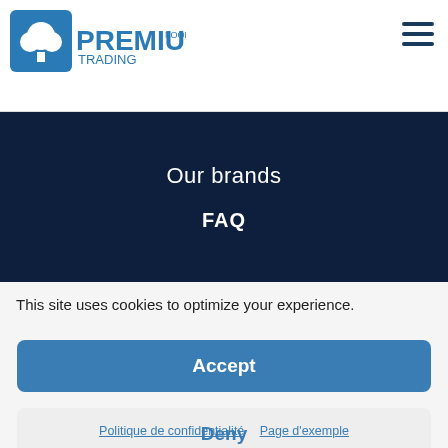[Figure (logo): Premium Food Trading logo with tree icon and text]
Our brands
FAQ
This site uses cookies to optimize your experience.
Accept
Deny
Preferences
Politique de confidentialité   Page d'exemple